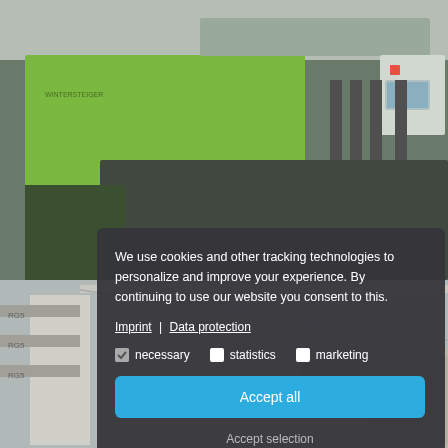[Figure (photo): Industrial grinding machine (Schleifautomat) by Wintersteiger shown in a two-part composite: top half shows a green and grey automated grinding machine with control panel; bottom half shows an interior warehouse/factory scene.]
We use cookies and other tracking technologies to personalize and improve your experience. By continuing to use our website you consent to this.
Imprint | Data protection
necessary   statistics   marketing
Accept all
Accept selection
Das Bild zeigt ein Rendering des Schleifautomats der Firma Wintersteiger.